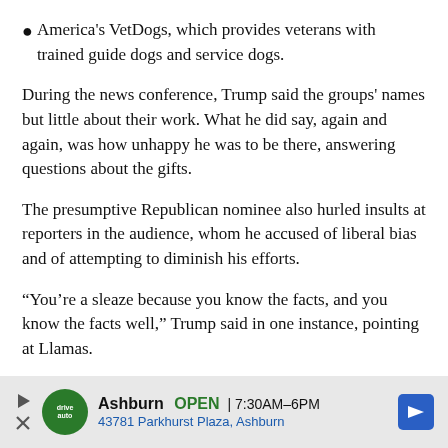America's VetDogs, which provides veterans with trained guide dogs and service dogs.
During the news conference, Trump said the groups' names but little about their work. What he did say, again and again, was how unhappy he was to be there, answering questions about the gifts.
The presumptive Republican nominee also hurled insults at reporters in the audience, whom he accused of liberal bias and of attempting to diminish his efforts.
“You’re a sleaze because you know the facts, and you know the facts well,” Trump said in one instance, pointing at Llamas.
[Figure (other): Advertisement banner for a local auto service business. Shows a green circular logo, business name 'Ashburn', OPEN status with hours '7:30AM-6PM', address '43781 Parkhurst Plaza, Ashburn', and a blue navigation arrow icon on the right.]